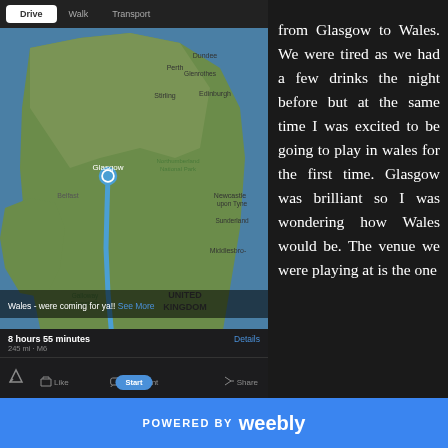[Figure (screenshot): Mobile phone screenshot showing a map navigation app (similar to Apple Maps) with a route plotted from Glasgow, Scotland to Wales, UK. The map shows UK geography with a blue route line running south from Glasgow through England. Below the map is a caption reading 'Wales - were coming for ya!! See More', then route info '8 hours 55 minutes, 245 mi · M6', with Like, Comment, Share buttons at the bottom.]
from Glasgow to Wales. We were tired as we had a few drinks the night before but at the same time I was excited to be going to play in wales for the first time. Glasgow was brilliant so I was wondering how Wales would be. The venue we were playing at is the one
POWERED BY weebly